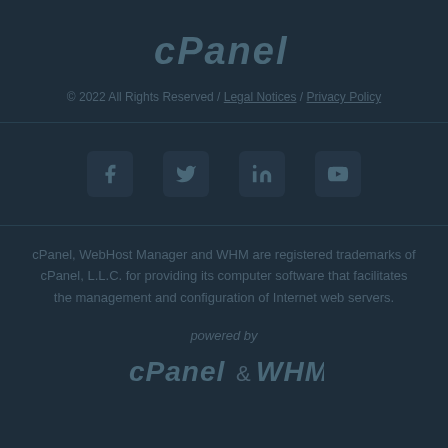[Figure (logo): cPanel logo in italic bold style]
© 2022 All Rights Reserved / Legal Notices / Privacy Policy
[Figure (other): Social media icons: Facebook, Twitter, LinkedIn, YouTube]
cPanel, WebHost Manager and WHM are registered trademarks of cPanel, L.L.C. for providing its computer software that facilitates the management and configuration of Internet web servers.
powered by
[Figure (logo): cPanel & WHM logo in italic bold style]